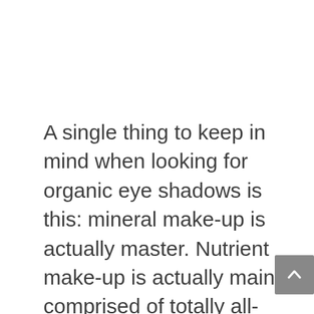A single thing to keep in mind when looking for organic eye shadows is this: mineral make-up is actually master. Nutrient make-up is actually mainly comprised of totally all-natural components featuring titanium oxide, zinc oxides, iron oxides, and also mica. Unlike non-organic shades which have really couple of normally taking place active ingredients as well as a great deal